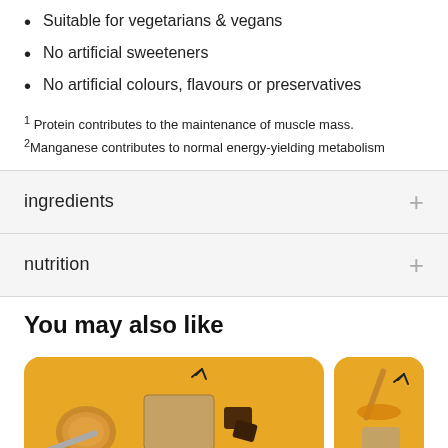Suitable for vegetarians & vegans
No artificial sweeteners
No artificial colours, flavours or preservatives
1 Protein contributes to the maintenance of muscle mass.
2 Manganese contributes to normal energy-yielding metabolism
ingredients
nutrition
You may also like
[Figure (photo): Product card with peanut butter and chocolate protein bar on orange background]
[Figure (photo): Product card with honey dipper and protein bar on orange background]